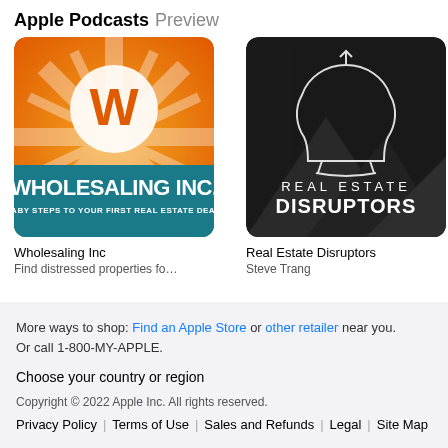Apple Podcasts Preview
[Figure (illustration): Podcast cover art for Wholesaling Inc - orange and teal gradient with text 'WHOLESALING INC. BABY STEPS TO YOUR FIRST REAL ESTATE DEAL.']
Wholesaling Inc
Find distressed properties fo…
[Figure (illustration): Podcast cover art for Real Estate Disruptors - dark background with head silhouette and text 'REAL ESTATE DISRUPTORS']
Real Estate Disruptors
Steve Trang
More ways to shop: Find an Apple Store or other retailer near you.
Or call 1-800-MY-APPLE.
Choose your country or region
Copyright © 2022 Apple Inc. All rights reserved.
Privacy Policy | Terms of Use | Sales and Refunds | Legal | Site Map